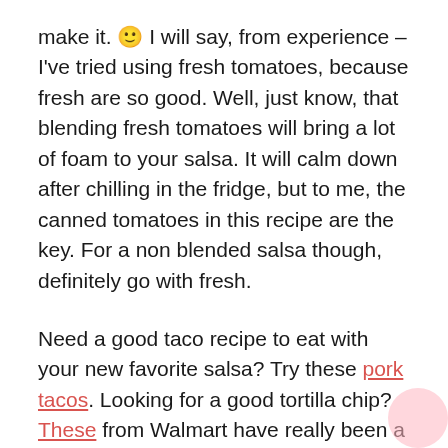make it. 🙂 I will say, from experience – I've tried using fresh tomatoes, because fresh are so good. Well, just know, that blending fresh tomatoes will bring a lot of foam to your salsa. It will calm down after chilling in the fridge, but to me, the canned tomatoes in this recipe are the key. For a non blended salsa though, definitely go with fresh.
Need a good taco recipe to eat with your new favorite salsa? Try these pork tacos. Looking for a good tortilla chip? These from Walmart have really been a good hit for us – cheap, salty, and the perfect size. And in case you need a Ninja blender, this is the one we have – it's been great!